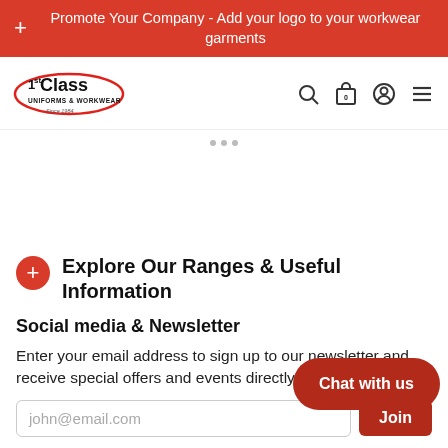Promote Your Company - Add your logo to your workwear garments
[Figure (logo): 1st Class Uniforms & Workwear logo with red oval swish]
Explore Our Ranges & Useful Information
Social media & Newsletter
Enter your email address to sign up to our newsletter and receive special offers and events directly to your mailbox.
Chat with us